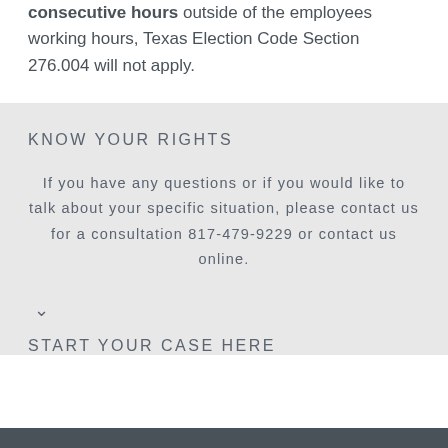consecutive hours outside of the employees working hours, Texas Election Code Section 276.004 will not apply.
KNOW YOUR RIGHTS
If you have any questions or if you would like to talk about your specific situation, please contact us for a consultation 817-479-9229 or contact us online.
START YOUR CASE HERE